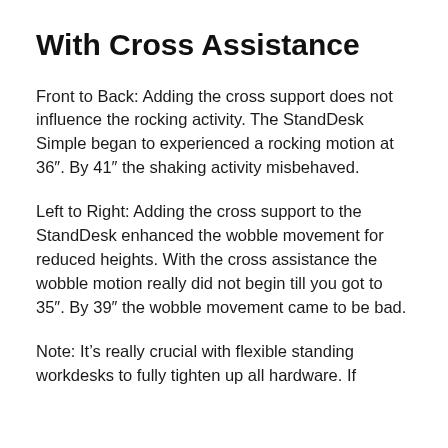With Cross Assistance
Front to Back: Adding the cross support does not influence the rocking activity. The StandDesk Simple began to experienced a rocking motion at 36″. By 41″ the shaking activity misbehaved.
Left to Right: Adding the cross support to the StandDesk enhanced the wobble movement for reduced heights. With the cross assistance the wobble motion really did not begin till you got to 35″. By 39″ the wobble movement came to be bad.
Note: It's really crucial with flexible standing workdesks to fully tighten up all hardware. If